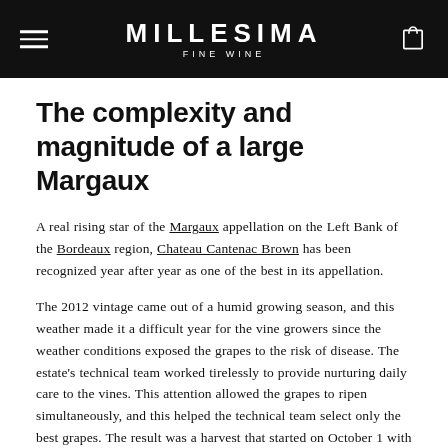MILLESIMA FINE WINE
The complexity and magnitude of a large Margaux
A real rising star of the Margaux appellation on the Left Bank of the Bordeaux region, Chateau Cantenac Brown has been recognized year after year as one of the best in its appellation.
The 2012 vintage came out of a humid growing season, and this weather made it a difficult year for the vine growers since the weather conditions exposed the grapes to the risk of disease. The estate's technical team worked tirelessly to provide nurturing daily care to the vines. This attention allowed the grapes to ripen simultaneously, and this helped the technical team select only the best grapes. The result was a harvest that started on October 1 with Merlot and finished on